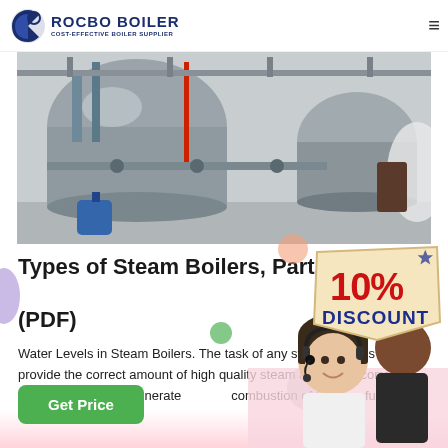ROCBO BOILER — COST-EFFECTIVE BOILER SUPPLIER
[Figure (photo): Industrial steam boilers in a factory — large horizontal cylindrical steel boilers with pipes and blue components]
Types of Steam Boilers, Parts, Working Principle (PDF)
[Figure (infographic): 10% DISCOUNT badge — bold red and blue text on a beige tag shape]
Water Levels in Steam Boilers. The task of any steam boiler is to provide the correct amount of high quality steam and at the correct pressure. Steam is generated combustion of fuel in a furnace, or by waste he
[Figure (photo): Customer service agent — woman with headset smiling, and a second person behind her]
Get Price